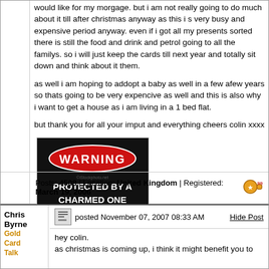would like for my morgage. but i am not really going to do much about it till after christmas anyway as this i s very busy and expensive period anyway. even if i got all my presents sorted there is still the food and drink and petrol going to all the familys. so i will just keep the cards till next year and totally sit down and think about it them.
as well i am hoping to addopt a baby as well in a few afew years so thats going to be very expencive as well and this is also why i want to get a house as i am living in a 1 bed flat.
but thank you for all your imput and everything cheers colin xxxx
[Figure (illustration): Warning sign image: black background with red oval containing white text 'WARNING', below which black text reads 'PROTECTED BY A CHARMED ONE']
Posts: 4508 | Location: United Kingdom | Registered: March 19, 2006
Chris Byrne
Gold Card Talk
posted November 07, 2007 08:33 AM
Hide Post
hey colin.
as christmas is coming up, i think it might benefit you to